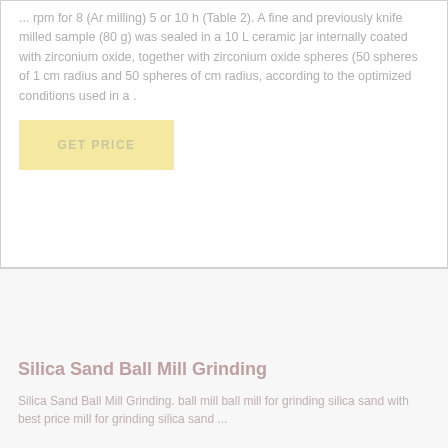... rpm for 8 (Ar milling) 5 or 10 h (Table 2). A fine and previously knife milled sample (80 g) was sealed in a 10 L ceramic jar internally coated with zirconium oxide, together with zirconium oxide spheres (50 spheres of 1 cm radius and 50 spheres of cm radius, according to the optimized conditions used in a .
GET PRICE
Silica Sand Ball Mill Grinding
Silica Sand Ball Mill Grinding. ball mill ball mill for grinding silica sand with best price mill for grinding silica sand ...